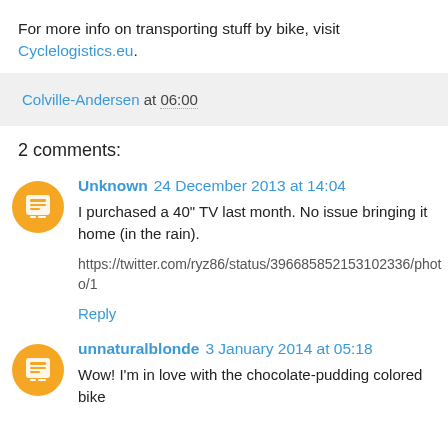For more info on transporting stuff by bike, visit Cyclelogistics.eu.
Colville-Andersen at 06:00
2 comments:
Unknown 24 December 2013 at 14:04
I purchased a 40" TV last month. No issue bringing it home (in the rain).
https://twitter.com/ryz86/status/396685852153102336/photo/1
Reply
unnaturalblonde 3 January 2014 at 05:18
Wow! I'm in love with the chocolate-pudding colored bike